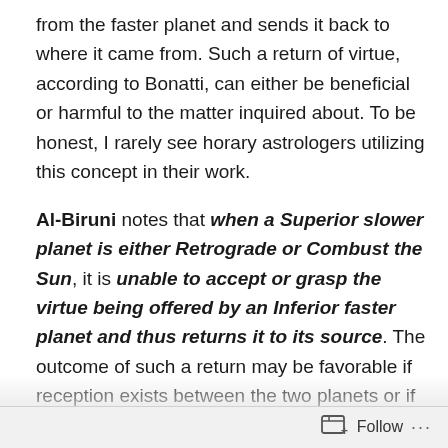from the faster planet and sends it back to where it came from. Such a return of virtue, according to Bonatti, can either be beneficial or harmful to the matter inquired about. To be honest, I rarely see horary astrologers utilizing this concept in their work.
Al-Biruni notes that when a Superior slower planet is either Retrograde or Combust the Sun, it is unable to accept or grasp the virtue being offered by an Inferior faster planet and thus returns it to its source. The outcome of such a return may be favorable if reception exists between the two planets or if the faster offering planet is angular or cadent, and matters may turn out okay. But if the faster planet, which is offering its virtue, is weak, and the slower planet, which is returning the virtue,
Follow ···